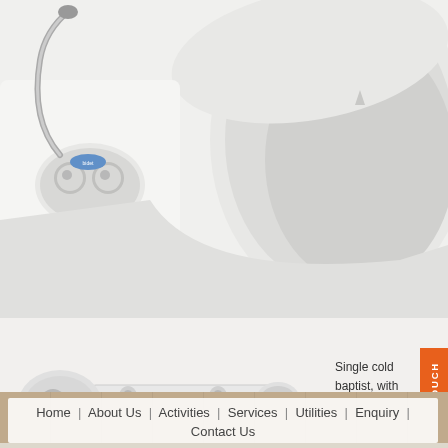[Figure (photo): Close-up photo of a bidet attachment mounted on a toilet, showing chrome control knobs and white ceramic toilet bowl with open lid]
[Figure (photo): White bidet non-electric attachment unit shown from above, with mounting bracket visible, chrome nozzle and control knob on left side]
Single cold baptist, with stainless steel hose, adjustable flow, double nozzle rinse.
GET IN TOUCH
Home | About Us | Activities | Services | Utilities | Enquiry | Contact Us
[Figure (logo): Partial company logo at bottom: blue triangular/arrow shape on left and stylized cursive letters on right, teal/dark blue color]